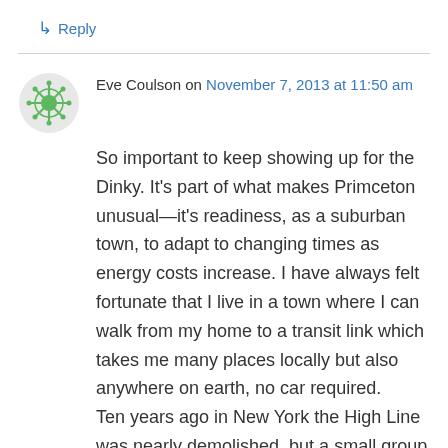↳ Reply
Eve Coulson on November 7, 2013 at 11:50 am
So important to keep showing up for the Dinky. It's part of what makes Primceton unusual—it's readiness, as a suburban town, to adapt to changing times as energy costs increase. I have always felt fortunate that I live in a town where I can walk from my home to a transit link which takes me many places locally but also anywhere on earth, no car required. Ten years ago in New York the High Line was nearly demolished, but a small group of citizens saw the value of saving it and it now it's hard to imagine that neighborhood, and the city, without